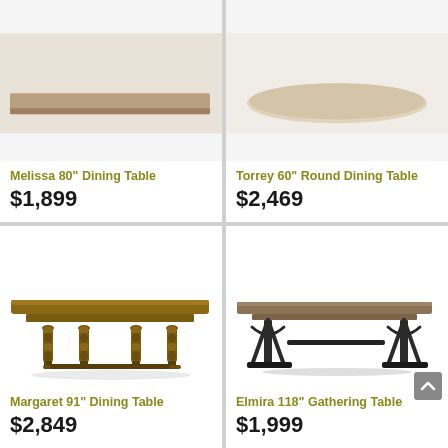[Figure (photo): Melissa 80 inch dining table product photo, partially visible at top]
Melissa 80" Dining Table
$1,899
[Figure (photo): Torrey 60 inch round dining table product photo, partially visible at top]
Torrey 60" Round Dining Table
$2,469
[Figure (photo): Margaret 91 inch dining table, rustic wood with turned baluster legs]
Margaret 91" Dining Table
$2,849
[Figure (photo): Elmira 118 inch gathering table, dark metal industrial trestle base]
Elmira 118" Gathering Table
$1,999